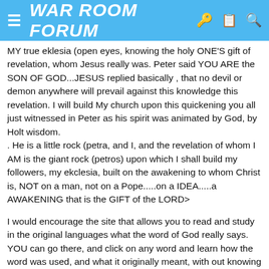WAR ROOM FORUM
MY true eklesia (open eyes, knowing the holy ONE'S gift of revelation, whom Jesus really was. Peter said YOU ARE the SON OF GOD...JESUS replied basically , that no devil or demon anywhere will prevail against this knowledge this revelation. I will build My church upon this quickening you all just witnessed in Peter as his spirit was animated by God, by Holt wisdom.
. He is a little rock (petra, and I, and the revelation of whom I AM is the giant rock (petros) upon which I shall build my followers, my ekclesia, built on the awakening to whom Christ is, NOT on a man, not on a Pope.....on a IDEA.....a AWAKENING that is the GIFT of the LORD>
I would encourage the site that allows you to read and study in the original languages what the word of God really says. YOU can go there, and click on any word and learn how the word was used, and what it originally meant, with out knowing the greek or hebrew.
ok, here goes,.
the gates, have killed 2 billion babies, and are about to kill even more adults than that.